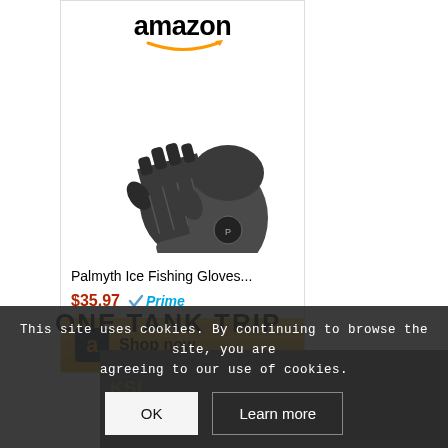[Figure (screenshot): Amazon product card showing Palmyth Ice Fishing Gloves priced at $35.97 with Prime badge and a Shop now button]
Palmyth Ice Fishing Gloves...
$35.97  Prime
ONE TANK TRIP
This site uses cookies. By continuing to browse the site, you are agreeing to our use of cookies.